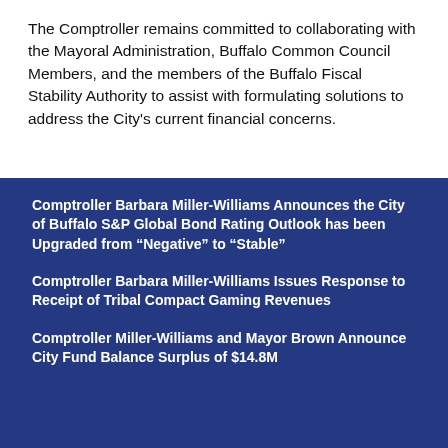The Comptroller remains committed to collaborating with the Mayoral Administration, Buffalo Common Council Members, and the members of the Buffalo Fiscal Stability Authority to assist with formulating solutions to address the City's current financial concerns.
Comptroller Barbara Miller-Williams Announces the City of Buffalo S&P Global Bond Rating Outlook has been Upgraded from “Negative” to “Stable”
Comptroller Barbara Miller-Williams Issues Response to Receipt of Tribal Compact Gaming Revenues
Comptroller Miller-Williams and Mayor Brown Announce City Fund Balance Surplus of $14.8M